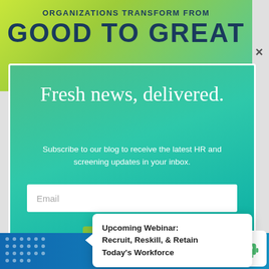ORGANIZATIONS TRANSFORM FROM GOOD TO GREAT
Fresh news, delivered.
Subscribe to our blog to receive the latest HR and screening updates in your inbox.
Email
Subscribe
CHRO a...
Veri...
Upcoming Webinar: Recruit, Reskill, & Retain Today's Workforce